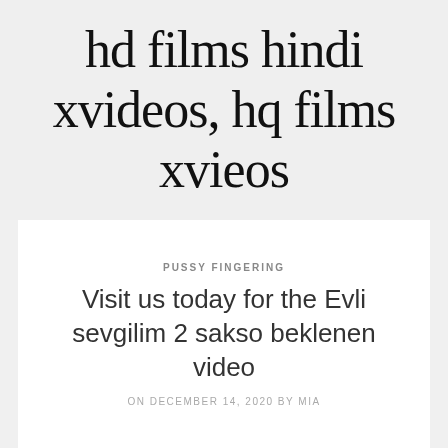hd films hindi xvideos, hq films xvieos
PUSSY FINGERING
Visit us today for the Evli sevgilim 2 sakso beklenen video
ON DECEMBER 14, 2020 BY MIA